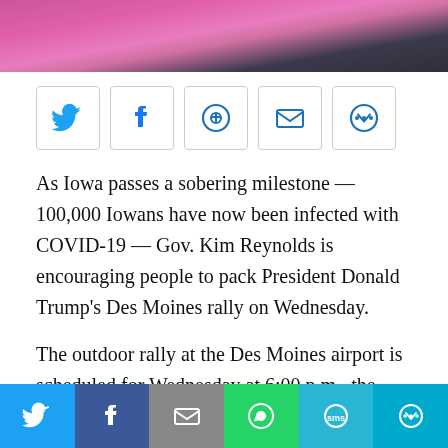[Figure (photo): Partial view of a person wearing a bright pink/magenta blazer, cropped at the top of the page]
[Figure (infographic): Row of 5 social share buttons: Twitter, Facebook, Pinterest, Email, More]
As Iowa passes a sobering milestone — 100,000 Iowans have now been infected with COVID-19 — Gov. Kim Reynolds is encouraging people to pack President Donald Trump's Des Moines rally on Wednesday.
The outdoor rally at the Des Moines airport is scheduled for Wednesday at 6:00 p.m., the third in a series of rallies from Trump in the immediate aftermath of his COVID-19 infection.
[Figure (infographic): Bottom share bar with 6 colored buttons: Twitter (blue), Facebook (dark blue), Email (grey), WhatsApp (green), SMS (light blue), More (cyan)]